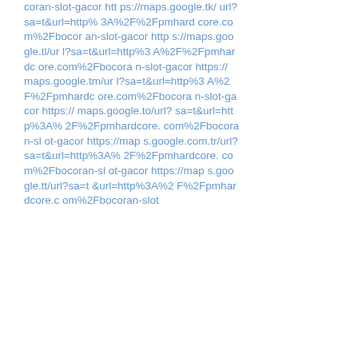coran-slot-gacor https://maps.google.tk/url?sa=t&url=http%3A%2F%2Fpmhardcore.com%2Fbocoran-slot-gacor https://maps.google.tl/url?sa=t&url=http%3A%2F%2Fpmhardcore.com%2Fbocoran-slot-gacor https://maps.google.tm/url?sa=t&url=http%3A%2F%2Fpmhardcore.com%2Fbocoran-slot-gacor https://maps.google.to/url?sa=t&url=http%3A%2F%2Fpmhardcore.com%2Fbocoran-slot-gacor https://maps.google.com.tr/url?sa=t&url=http%3A%2F%2Fpmhardcore.com%2Fbocoran-slot-gacor https://maps.google.tt/url?sa=t&url=http%3A%2F%2Fpmhardcore.com%2Fbocoran-slot